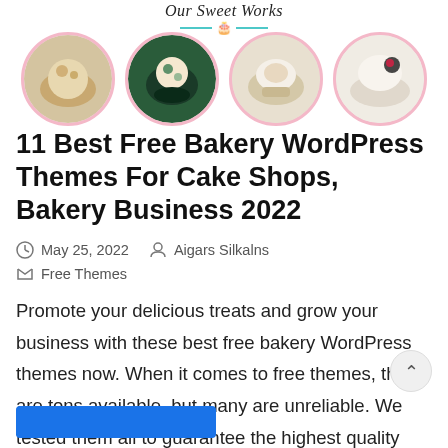Our Sweet Works
[Figure (photo): Four circular photos with pink borders showing bakery/cake items]
11 Best Free Bakery WordPress Themes For Cake Shops, Bakery Business 2022
May 25, 2022   Aigars Silkalns   Free Themes
Promote your delicious treats and grow your business with these best free bakery WordPress themes now. When it comes to free themes, there are tons available, but many are unreliable. We tested them all to guarantee the highest quality you...